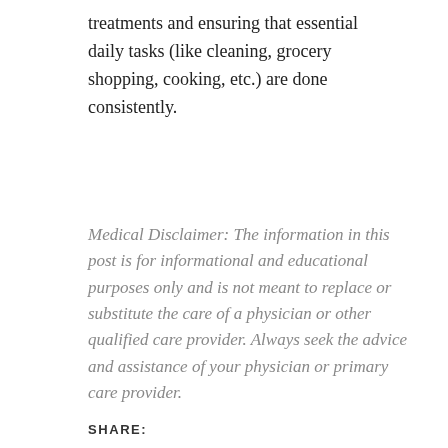treatments and ensuring that essential daily tasks (like cleaning, grocery shopping, cooking, etc.) are done consistently.
Medical Disclaimer: The information in this post is for informational and educational purposes only and is not meant to replace or substitute the care of a physician or other qualified care provider. Always seek the advice and assistance of your physician or primary care provider.
SHARE: